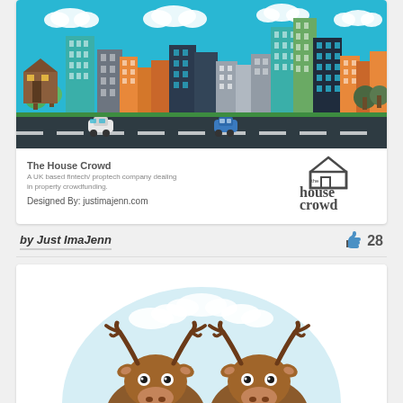[Figure (illustration): Colorful flat-design city skyline illustration with buildings, trees, clouds, road, and cars on a blue sky background]
The House Crowd
A UK based fintech/ proptech company dealing in property crowdfunding.
Designed By: justimajenn.com
[Figure (logo): The House Crowd logo - house icon with text 'the house crowd ...the smarter way to invest']
by Just ImaJenn
28
[Figure (illustration): Cartoon illustration of two moose characters peeking up from the bottom, with a light blue circular background with clouds]